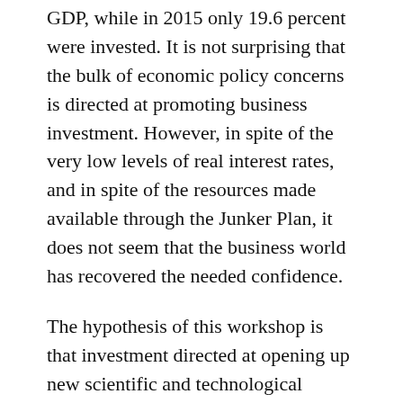GDP, while in 2015 only 19.6 percent were invested. It is not surprising that the bulk of economic policy concerns is directed at promoting business investment. However, in spite of the very low levels of real interest rates, and in spite of the resources made available through the Junker Plan, it does not seem that the business world has recovered the needed confidence.
The hypothesis of this workshop is that investment directed at opening up new scientific and technological opportunities will be the most effective strategy in stimulating markets and economic recovery. Investment directed towards the most innovative components of our economies will restore confidence and encourage companies to